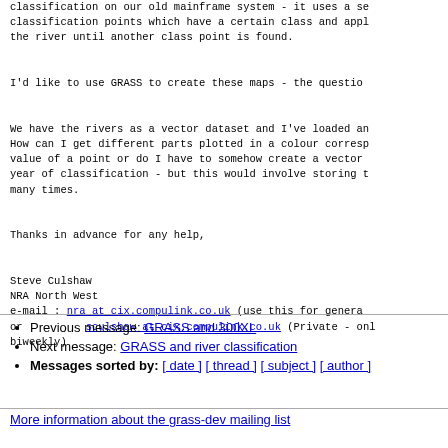classification on our old mainframe system - it uses a series of classification points which have a certain class and applies it along the river until another class point is found.
I'd like to use GRASS to create these maps - the question is how.
We have the rivers as a vector dataset and I've loaded and displayed them. How can I get different parts plotted in a colour corresponding to the value of a point or do I have to somehow create a vector map for each year of classification - but this would involve storing the data many times.
Thanks in advance for any help,
Steve Culshaw
NRA North West
e-mail : nra at cix.compulink.co.uk (use this for general queries)
or        sculshaw at cix.compulink.co.uk (Private - only read biweekly)
Previous message: GRASS and 300XL
Next message: GRASS and river classification
Messages sorted by: [ date ] [ thread ] [ subject ] [ author ]
More information about the grass-dev mailing list